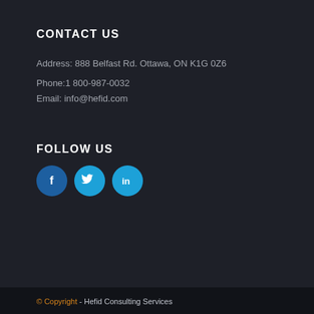CONTACT US
Address: 888 Belfast Rd. Ottawa, ON K1G 0Z6
Phone:1 800-987-0032
Email: info@hefid.com
FOLLOW US
[Figure (infographic): Three social media icons: Facebook (dark blue circle with white f), Twitter (light blue circle with white bird), LinkedIn (light blue circle with white in)]
© Copyright - Hefid Consulting Services